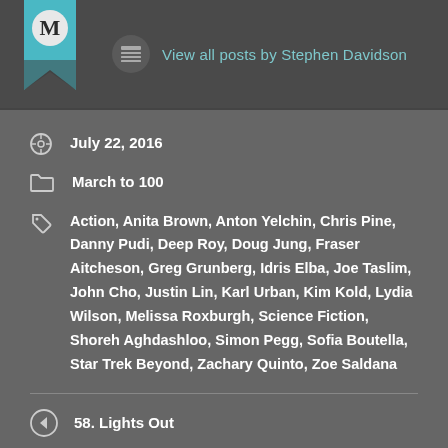[Figure (logo): White M letter on dark teal/cyan bookmark ribbon logo]
View all posts by Stephen Davidson
July 22, 2016
March to 100
Action, Anita Brown, Anton Yelchin, Chris Pine, Danny Pudi, Deep Roy, Doug Jung, Fraser Aitcheson, Greg Grunberg, Idris Elba, Joe Taslim, John Cho, Justin Lin, Karl Urban, Kim Kold, Lydia Wilson, Melissa Roxburgh, Science Fiction, Shoreh Aghdashloo, Simon Pegg, Sofia Boutella, Star Trek Beyond, Zachary Quinto, Zoe Saldana
58. Lights Out
60. Nerve